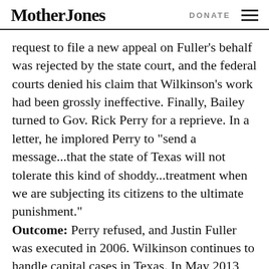Mother Jones | DONATE
request to file a new appeal on Fuller’s behalf was rejected by the state court, and the federal courts denied his claim that Wilkinson’s work had been grossly ineffective. Finally, Bailey turned to Gov. Rick Perry for a reprieve. In a letter, he implored Perry to “send a message…that the state of Texas will not tolerate this kind of shoddy…treatment when we are subjecting its citizens to the ultimate punishment.” Outcome: Perry refused, and Justin Fuller was executed in 2006. Wilkinson continues to handle capital cases in Texas. In May 2013, one of his clients, Micah Brown, was sentenced to death after a jury trial.